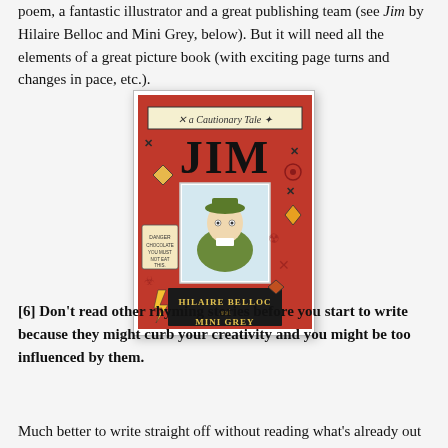poem, a fantastic illustrator and a great publishing team (see Jim by Hilaire Belloc and Mini Grey, below). But it will need all the elements of a great picture book (with exciting page turns and changes in pace, etc.).
[Figure (photo): Book cover of 'Jim: A Cautionary Tale' by Hilaire Belloc and Mini Grey. Red cover with warning signs, featuring an illustrated boy in a green coat and hat.]
[6] Don't read other rhyming stories before you start to write because they might curb your creativity and you might be too influenced by them.
Much better to write straight off without reading what's already out